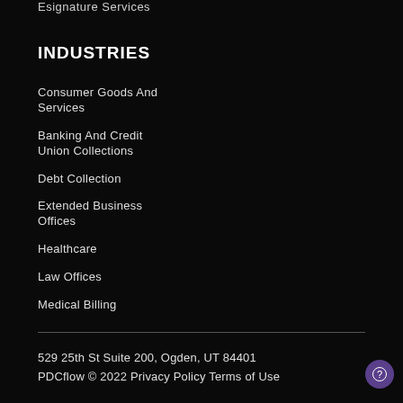Esignature Services
INDUSTRIES
Consumer Goods And Services
Banking And Credit Union Collections
Debt Collection
Extended Business Offices
Healthcare
Law Offices
Medical Billing
529 25th St Suite 200, Ogden, UT 84401
PDCflow © 2022 Privacy Policy Terms of Use